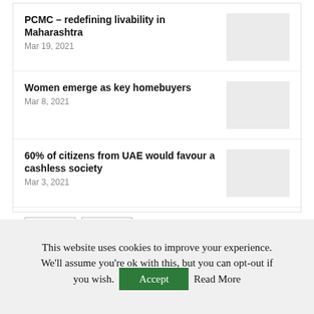PCMC – redefining livability in Maharashtra
Mar 19, 2021
Women emerge as key homebuyers
Mar 8, 2021
60% of citizens from UAE would favour a cashless society
Mar 3, 2021
‹ PREV   NEXT ›   1 of 21
This website uses cookies to improve your experience. We'll assume you're ok with this, but you can opt-out if you wish.  Accept  Read More